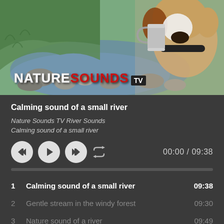[Figure (screenshot): YouTube-style music player thumbnail showing a nature scene with a river, rocky stream, green hillside, and a Jack Russell terrier dog holding a tin can in its mouth. NatureSounds TV logo is overlaid on the bottom left.]
Calming sound of a small river
Nature Sounds TV River Sounds
Calming sound of a small river
[Figure (infographic): Media player controls: skip-back button, play button, skip-forward button, loop icon, and time display showing 00:00 / 09:38]
1  Calming sound of a small river  09:38
2  Gentle stream in the windy forest  09:30
3  Nature sound of a river  09:49
4  Relaxing sound of a river  09:48
5  River flowing in a cave  09:45
6  River flowing in the forest  09:46
7  River in the night  09:40